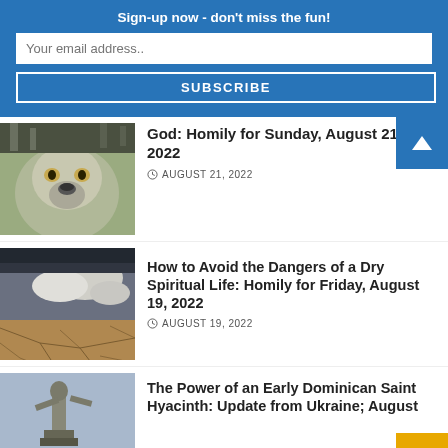Sign-up now - don't miss the fun!
Your email address..
SUBSCRIBE
God: Homily for Sunday, August 21, 2022
AUGUST 21, 2022
[Figure (photo): Close-up of a wolf face]
[Figure (photo): Cracked dry earth with dramatic sky and clouds]
How to Avoid the Dangers of a Dry Spiritual Life: Homily for Friday, August 19, 2022
AUGUST 19, 2022
[Figure (photo): Statue against a blue sky]
The Power of an Early Dominican Saint Hyacinth: Update from Ukraine; August